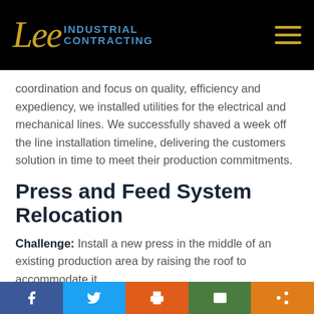Lee Industrial Contracting
coordination and focus on quality, efficiency and expediency, we installed utilities for the electrical and mechanical lines. We successfully shaved a week off the line installation timeline, delivering the customers solution in time to meet their production commitments.
Press and Feed System Relocation
Challenge: Install a new press in the middle of an existing production area by raising the roof to accommodate it.
Social share bar: Facebook, Twitter, Print, Email, Share